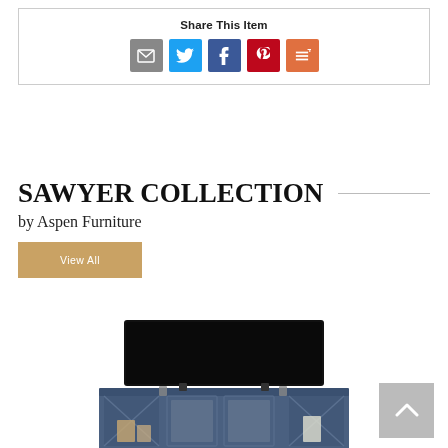Share This Item
[Figure (infographic): Social share icons: Email (grey), Twitter (blue), Facebook (blue), Pinterest (red), More (orange)]
SAWYER COLLECTION
by Aspen Furniture
View All
[Figure (photo): Photo of a blue TV console/media stand from the Sawyer Collection with a flat-screen TV on top, glass-door cabinets, and open shelves with decorative items]